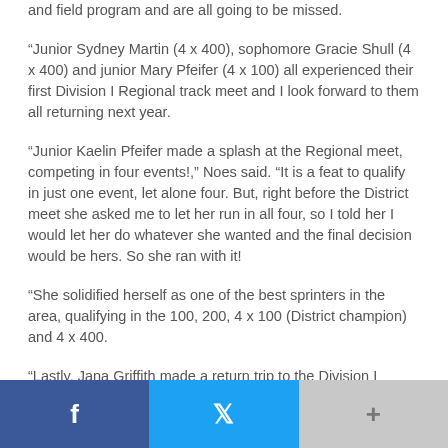and field program and are all going to be missed.
“Junior Sydney Martin (4 x 400), sophomore Gracie Shull (4 x 400) and junior Mary Pfeifer (4 x 100) all experienced their first Division I Regional track meet and I look forward to them all returning next year.
“Junior Kaelin Pfeifer made a splash at the Regional meet, competing in four events!,” Noes said. “It is a feat to qualify in just one event, let alone four. But, right before the District meet she asked me to let her run in all four, so I told her I would let her do whatever she wanted and the final decision would be hers. So she ran with it!
“She solidified herself as one of the best sprinters in the area, qualifying in the 100, 200, 4 x 100 (District champion) and 4 x 400.
“Lastly, Jana Griffith made a return trip to the Division I
[Figure (other): Social sharing bar with Facebook (blue), Twitter (light blue), and a plus/more button (gray)]